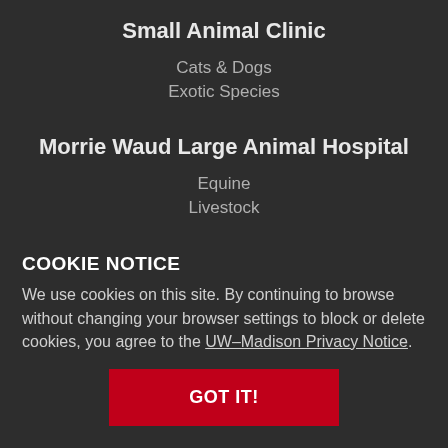Small Animal Clinic
Cats & Dogs
Exotic Species
Morrie Waud Large Animal Hospital
Equine
Livestock
Contact Us
Make an Appointment
COOKIE NOTICE
We use cookies on this site. By continuing to browse without changing your browser settings to block or delete cookies, you agree to the UW–Madison Privacy Notice.
GOT IT!